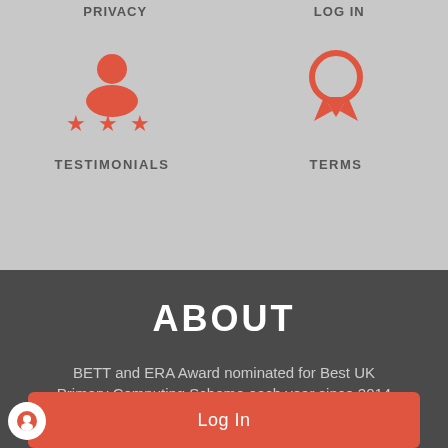PRIVACY   LOG IN
[Figure (illustration): Red person icon with three red stars below it, labeled TESTIMONIALS]
[Figure (illustration): Red badge/medal circle icon with ribbon, labeled TERMS]
TESTIMONIALS
TERMS
ABOUT
BETT and ERA Award nominated for Best UK Primary Computing Scheme each year since 2014
Log In